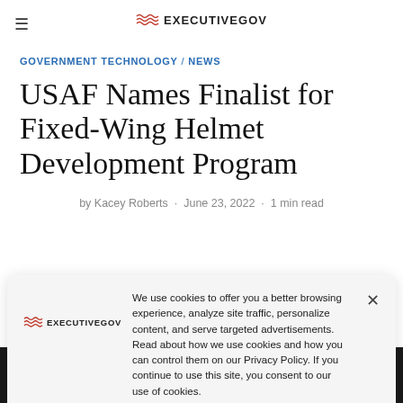≡  ExecutiveGov
GOVERNMENT TECHNOLOGY / NEWS
USAF Names Finalist for Fixed-Wing Helmet Development Program
by Kacey Roberts · June 23, 2022 · 1 min read
We use cookies to offer you a better browsing experience, analyze site traffic, personalize content, and serve targeted advertisements. Read about how we use cookies and how you can control them on our Privacy Policy. If you continue to use this site, you consent to our use of cookies.
[Figure (photo): Dark image strip at bottom of page, appears to be a photo of a helmet or military equipment]